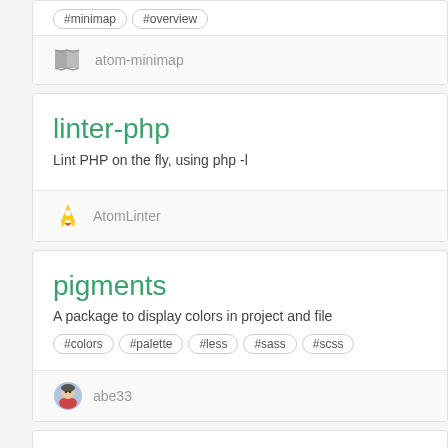atom-minimap — partial card top with tags #minimap #overview and author atom-minimap
linter-php — Lint PHP on the fly, using php -l — author AtomLinter
pigments — A package to display colors in project and file — tags #colors #palette #less #sass #scss — author abe33
partial card bottom (cut off)